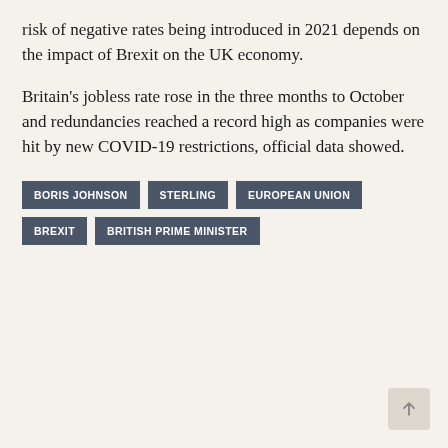risk of negative rates being introduced in 2021 depends on the impact of Brexit on the UK economy.
Britain's jobless rate rose in the three months to October and redundancies reached a record high as companies were hit by new COVID-19 restrictions, official data showed.
BORIS JOHNSON
STERLING
EUROPEAN UNION
BREXIT
BRITISH PRIME MINISTER